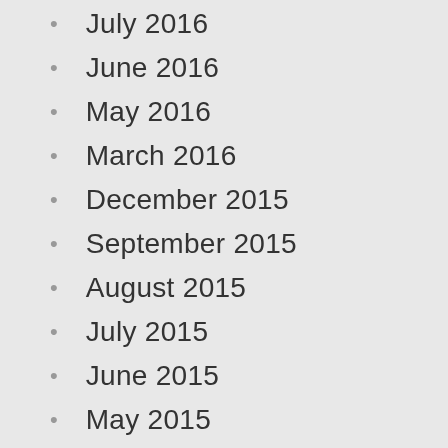July 2016
June 2016
May 2016
March 2016
December 2015
September 2015
August 2015
July 2015
June 2015
May 2015
April 2015
October 2014